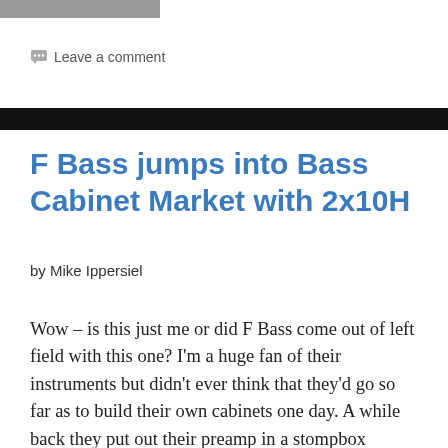Leave a comment
F Bass jumps into Bass Cabinet Market with 2x10H
by Mike Ippersiel
Wow – is this just me or did F Bass come out of left field with this one? I'm a huge fan of their instruments but didn't ever think that they'd go so far as to build their own cabinets one day. A while back they put out their preamp in a stompbox version which …